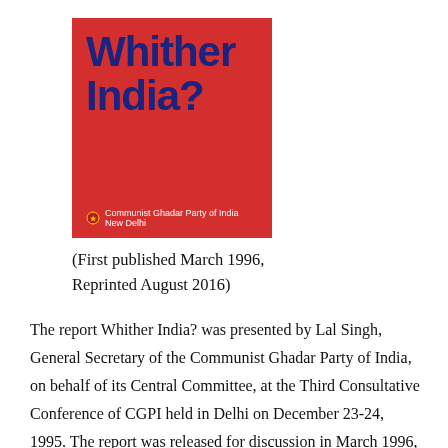[Figure (illustration): Book cover of 'Whither India?' — red background with large blue bold title text 'Whither India?' and small text at bottom reading 'Communist Ghadar Party of India, New Delhi' with a logo emblem.]
(First published March 1996, Reprinted August 2016)
The report Whither India? was presented by Lal Singh, General Secretary of the Communist Ghadar Party of India, on behalf of its Central Committee, at the Third Consultative Conference of CGPI held in Delhi on December 23-24, 1995. The report was released for discussion in March 1996, by decision of the Third Consultative Conference. Subsequently the Central